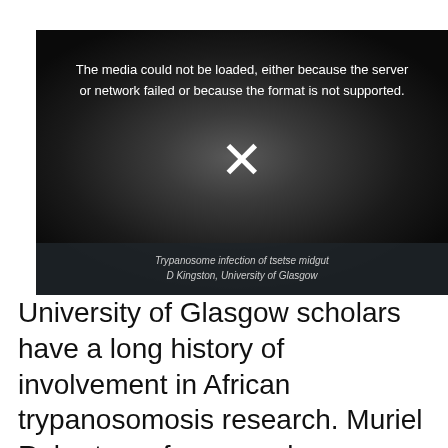[Figure (photo): Video player showing an error message: 'The media could not be loaded, either because the server or network failed or because the format is not supported.' with an X symbol in the center, over a dark microscopy image background. Caption reads: 'Trypanosome infection of tsetse midgut D Kingston, University of Glasgow']
Trypanosome infection of tsetse midgut
D Kingston, University of Glasgow
University of Glasgow scholars have a long history of involvement in African trypanosomosis research. Muriel Robertson, for example, described the